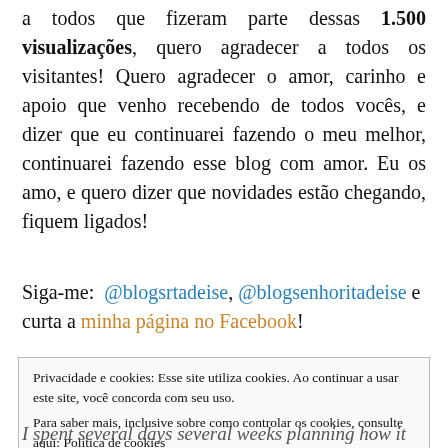a todos que fizeram parte dessas 1.500 visualizações, quero agradecer a todos os visitantes! Quero agradecer o amor, carinho e apoio que venho recebendo de todos vocês, e dizer que eu continuarei fazendo o meu melhor, continuarei fazendo esse blog com amor. Eu os amo, e quero dizer que novidades estão chegando, fiquem ligados!
Siga-me: @blogsrtadeise, @blogsenhoritadeise e curta a minha página no Facebook!
Privacidade e cookies: Esse site utiliza cookies. Ao continuar a usar este site, você concorda com seu uso.
Para saber mais, inclusive sobre como controlar os cookies, consulte aqui: Política de cookies
Fechar e aceitar
I spent several days several weeks planning how it